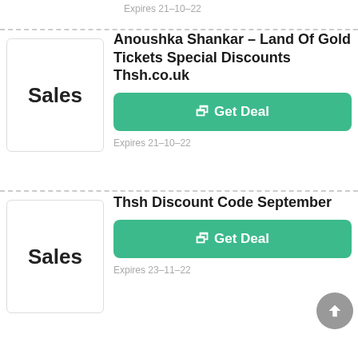Expires 21-10-22
Anoushka Shankar – Land Of Gold Tickets Special Discounts Thsh.co.uk
Get Deal
Expires 21-10-22
Thsh Discount Code September
Get Deal
Expires 23-11-22